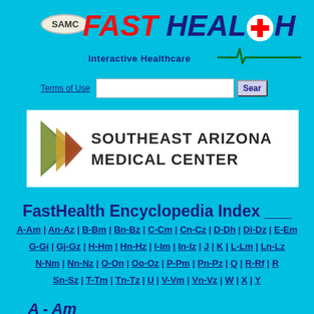[Figure (logo): SAMC FastHealth Interactive Healthcare logo with red and dark blue stylized text, white cross in circle, and ECG line]
[Figure (logo): Southeast Arizona Medical Center banner with geometric leaf/arrow logo]
Terms of Use
FastHealth Encyclopedia Index
A-Am | An-Az | B-Bm | Bn-Bz | C-Cm | Cn-Cz | D-Dh | Di-Dz | E-Em | G-Gi | Gj-Gz | H-Hm | Hn-Hz | I-Im | In-Iz | J | K | L-Lm | Ln-Lz | N-Nm | Nn-Nz | O-On | Oo-Oz | P-Pm | Pn-Pz | Q | R-Rf | R | Sn-Sz | T-Tm | Tn-Tz | U | V-Vm | Vn-Vz | W | X | Y
A-Am